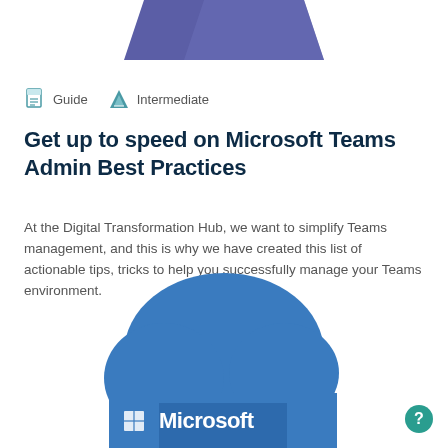[Figure (illustration): Purple/indigo decorative banner shape at the top center of the page]
Guide   Intermediate
Get up to speed on Microsoft Teams Admin Best Practices
At the Digital Transformation Hub, we want to simplify Teams management, and this is why we have created this list of actionable tips, tricks to help you successfully manage your Teams environment.
[Figure (logo): Microsoft cloud logo with cloud shape in steel blue and Microsoft Windows logo plus 'Microsoft' wordmark in white at bottom]
[Figure (other): Circular help/question mark button in teal at bottom right]